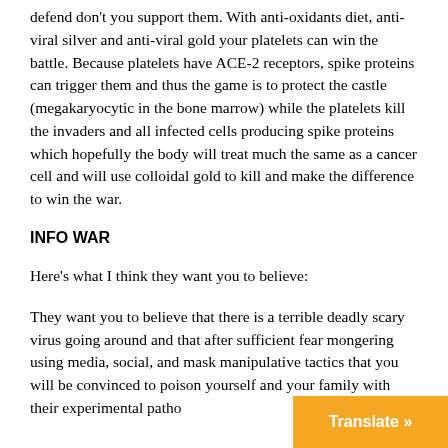defend don't you support them. With anti-oxidants diet, anti-viral silver and anti-viral gold your platelets can win the battle. Because platelets have ACE-2 receptors, spike proteins can trigger them and thus the game is to protect the castle (megakaryocytic in the bone marrow) while the platelets kill the invaders and all infected cells producing spike proteins which hopefully the body will treat much the same as a cancer cell and will use colloidal gold to kill and make the difference to win the war.
INFO WAR
Here's what I think they want you to believe:
They want you to believe that there is a terrible deadly scary virus going around and that after sufficient fear mongering using media, social, and mask manipulative tactics that you will be convinced to poison yourself and your family with their experimental patho